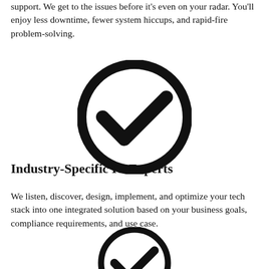support. We get to the issues before it's even on your radar. You'll enjoy less downtime, fewer system hiccups, and rapid-fire problem-solving.
[Figure (illustration): A large circle with a bold checkmark inside it, black on white background.]
Industry-Specific IT Experts
We listen, discover, design, implement, and optimize your tech stack into one integrated solution based on your business goals, compliance requirements, and use case.
[Figure (illustration): A large circle with a bold checkmark inside it, black on white background, partially visible at bottom of page.]